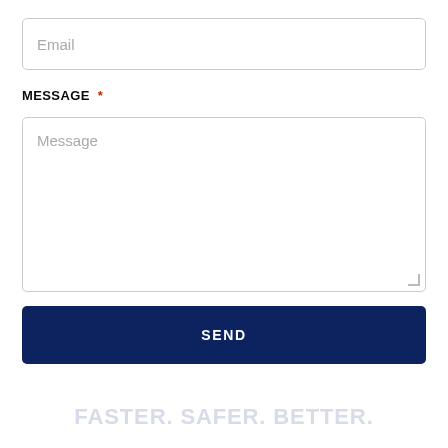Email
MESSAGE *
Message
SEND
FASTER. SAFER. BETTER.